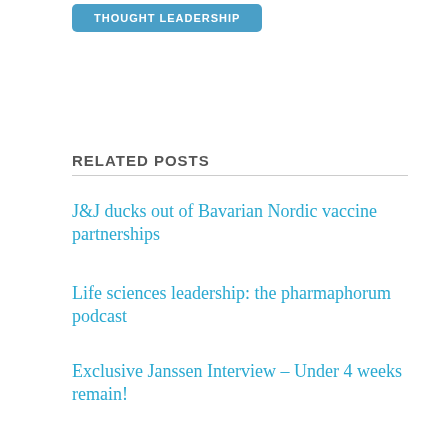[Figure (other): Blue rounded button with white text reading THOUGHT LEADERSHIP]
RELATED POSTS
J&J ducks out of Bavarian Nordic vaccine partnerships
Life sciences leadership: the pharmaphorum podcast
Exclusive Janssen Interview – Under 4 weeks remain!